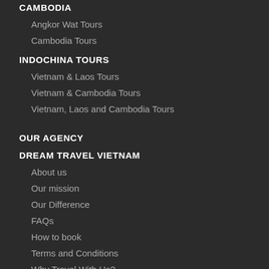CAMBODIA
Angkor Wat Tours
Cambodia Tours
INDOCHINA TOURS
Vietnam & Laos Tours
Vietnam & Cambodia Tours
Vietnam, Laos and Cambodia Tours
OUR AGENCY
DREAM TRAVEL VIETNAM
About us
Our mission
Our Difference
FAQs
How to book
Terms and Conditions
Why Travel With Us?
RESPONSIBLE TRAVEL
Ecotourism in Vietnam
Responsible Travel Guideline